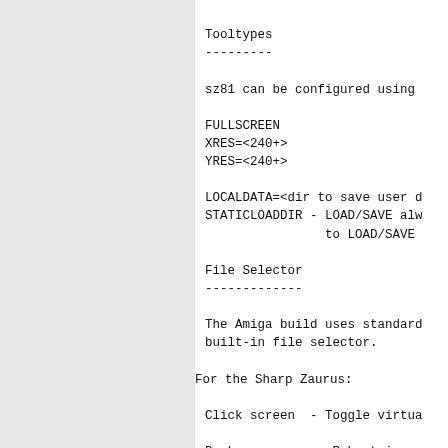Tooltypes
---------
sz81 can be configured using
FULLSCREEN
XRES=<240+>
YRES=<240+>
LOCALDATA=<dir to save user d
STATICLOADDIR - LOAD/SAVE alw
                to LOAD/SAVE
File Selector
-------------
The Amiga build uses standard
built-in file selector.
For the Sharp Zaurus:
Click screen  - Toggle virtua
Backspace      - Rubout i.e. e
Comma          - Equivalent to
Cursors        - Equivalent to
-/=            - Decrease/incr